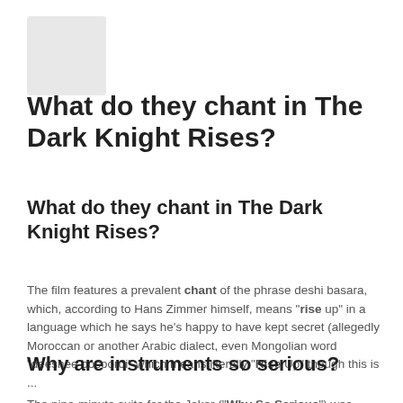[Figure (logo): Gray placeholder logo box in top-left corner]
What do they chant in The Dark Knight Rises?
What do they chant in The Dark Knight Rises?
The film features a prevalent chant of the phrase deshi basara, which, according to Hans Zimmer himself, means "rise up" in a language which he says he's happy to have kept secret (allegedly Moroccan or another Arabic dialect, even Mongolian word "deeshee bosooroi" which means literally "Rise Up" though this is ...
Why are instruments so serious?
The nine-minute suite for the Joker ("Why So Serious") was